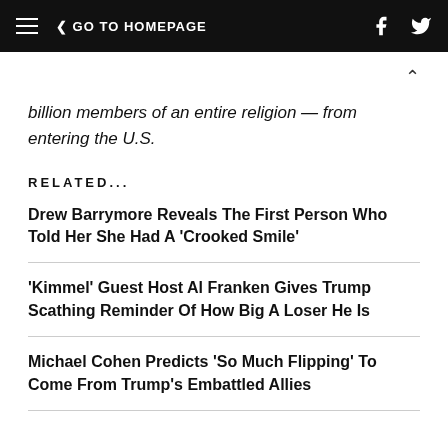GO TO HOMEPAGE
billion members of an entire religion — from entering the U.S.
RELATED...
Drew Barrymore Reveals The First Person Who Told Her She Had A 'Crooked Smile'
'Kimmel' Guest Host Al Franken Gives Trump Scathing Reminder Of How Big A Loser He Is
Michael Cohen Predicts 'So Much Flipping' To Come From Trump's Embattled Allies